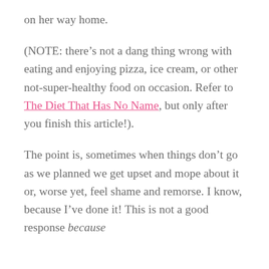on her way home.
(NOTE: there’s not a dang thing wrong with eating and enjoying pizza, ice cream, or other not-super-healthy food on occasion. Refer to The Diet That Has No Name, but only after you finish this article!).
The point is, sometimes when things don’t go as we planned we get upset and mope about it or, worse yet, feel shame and remorse. I know, because I’ve done it! This is not a good response because